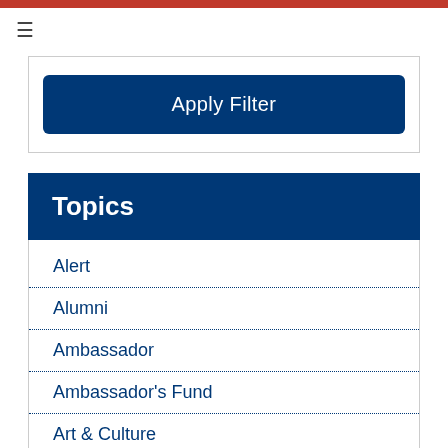≡
Apply Filter
Topics
Alert
Alumni
Ambassador
Ambassador's Fund
Art & Culture
Business
Charge D'Affaires
Commercial Affairs